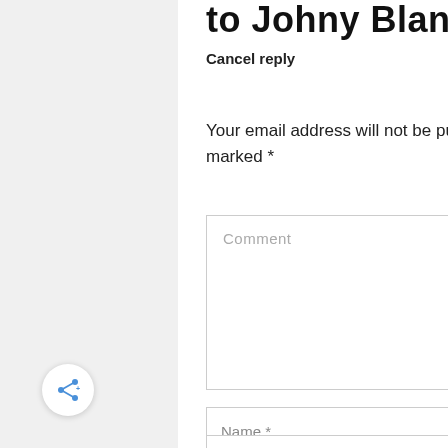to Johny Blan
Cancel reply
Your email address will not be published. Required fields are marked *
[Figure (other): Comment text area input field with placeholder text 'Comment' and resize handle]
[Figure (other): Name input field with placeholder text 'Name *']
[Figure (other): Email input field with placeholder text 'Email *']
[Figure (other): Share button — circular white button with blue share/network icon]